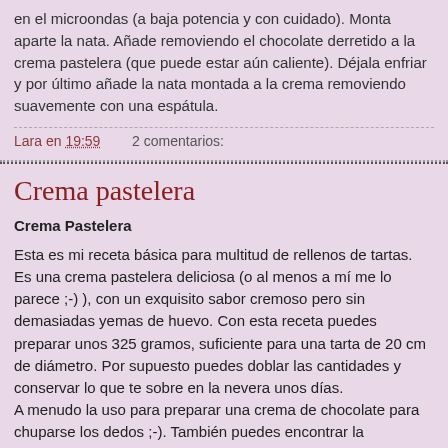en el microondas (a baja potencia y con cuidado). Monta aparte la nata. Añade removiendo el chocolate derretido a la crema pastelera (que puede estar aún caliente). Déjala enfriar y por último añade la nata montada a la crema removiendo suavemente con una espátula.
Lara en 19:59   2 comentarios:
Crema pastelera
Crema Pastelera
Esta es mi receta básica para multitud de rellenos de tartas. Es una crema pastelera deliciosa (o al menos a mí me lo parece ;-) ), con un exquisito sabor cremoso pero sin demasiadas yemas de huevo. Con esta receta puedes preparar unos 325 gramos, suficiente para una tarta de 20 cm de diámetro. Por supuesto puedes doblar las cantidades y conservar lo que te sobre en la nevera unos días. A menudo la uso para preparar una crema de chocolate para chuparse los dedos ;-). También puedes encontrar la